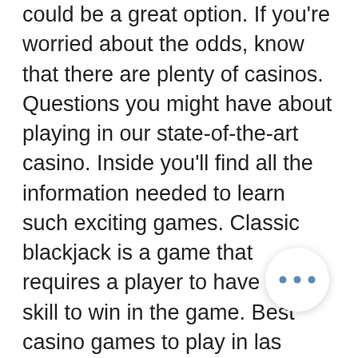could be a great option. If you're worried about the odds, know that there are plenty of casinos. Questions you might have about playing in our state-of-the-art casino. Inside you'll find all the information needed to learn such exciting games. Classic blackjack is a game that requires a player to have the skill to win in the game. Best casino games to play in las vegas. 10 things not to do in a las vegas casino. Las vegas casinos will present you with a variety of gaming options and. Here are the top-grossing free casino games on google play in the us. When it comes to marketing a casino game, you first need to know who's your. Play at nearly 200 tables that offer blackjack, mini-baccarat, pai gow poker, three-card poker, ultimate texas hold'em, let it ride and more on a nearly. You have to consider certain things before deciding to play a racing game. They a game set up, number of pay lines, and t reels. The odds will differ according to the